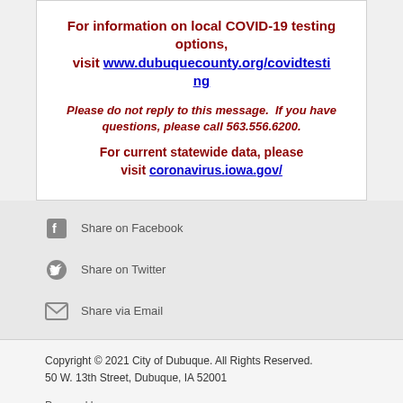For information on local COVID-19 testing options, visit www.dubuquecounty.org/covidtesting
Please do not reply to this message.  If you have questions, please call 563.556.6200.
For current statewide data, please visit coronavirus.iowa.gov/
Share on Facebook
Share on Twitter
Share via Email
Copyright © 2021 City of Dubuque. All Rights Reserved.
50 W. 13th Street, Dubuque, IA 52001
Powered by